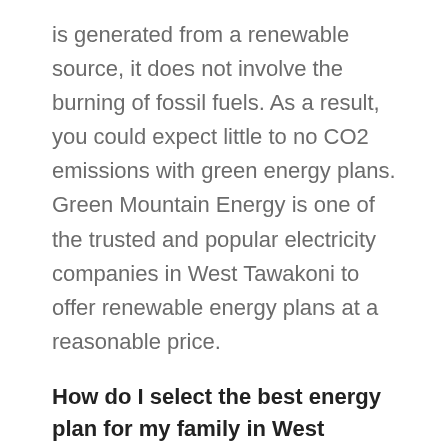is generated from a renewable source, it does not involve the burning of fossil fuels. As a result, you could expect little to no CO2 emissions with green energy plans. Green Mountain Energy is one of the trusted and popular electricity companies in West Tawakoni to offer renewable energy plans at a reasonable price.
How do I select the best energy plan for my family in West Tawakoni?
Compare the energy rates of different electricity plans, check the contract term, and then sign-up for a plan that best fits your electricity requirements. There are also a few